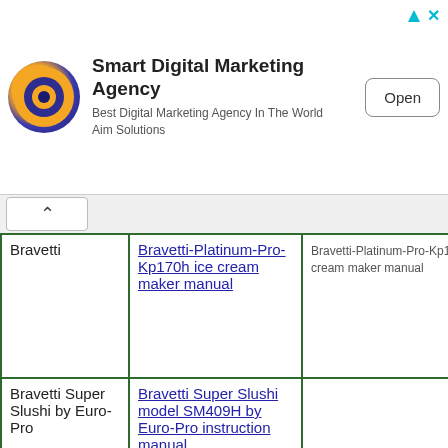[Figure (infographic): Advertisement banner: Smart Digital Marketing Agency logo (orange and blue circular icon), title 'Smart Digital Marketing Agency', subtitle 'Best Digital Marketing Agency In The World / Aim Solutions', Open button, with corner ad icons (triangle and X).]
| Bravetti | Bravetti-Platinum-Pro-Kp170h ice cream maker manual | Bravetti-Platinum-Pro-Kp1... cream maker manual |
| Bravetti Super Slushi by Euro-Pro | Bravetti Super Slushi model SM409H by Euro-Pro instruction manual. |  |